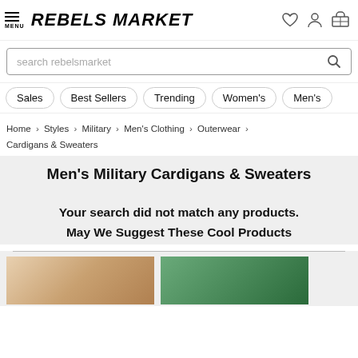MENU REBELS MARKET
search rebelsmarket
Sales
Best Sellers
Trending
Women's
Men's
Home > Styles > Military > Men's Clothing > Outerwear > Cardigans & Sweaters
Men's Military Cardigans & Sweaters
Your search did not match any products.
May We Suggest These Cool Products
[Figure (photo): Two product thumbnail photos side by side at the bottom of the page]